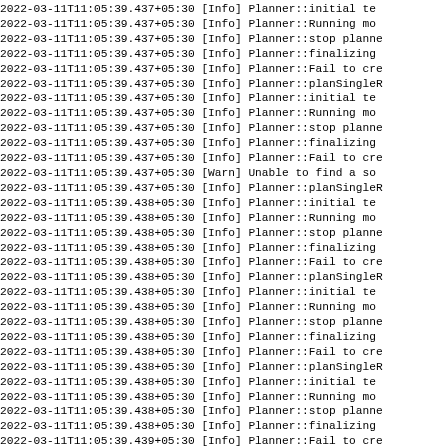2022-03-11T11:05:39.437+05:30 [Info] Planner::initial te
2022-03-11T11:05:39.437+05:30 [Info] Planner::Running mo
2022-03-11T11:05:39.437+05:30 [Info] Planner::stop planne
2022-03-11T11:05:39.437+05:30 [Info] Planner::finalizing
2022-03-11T11:05:39.437+05:30 [Info] Planner::Fail to cre
2022-03-11T11:05:39.437+05:30 [Info] Planner::planSingleR
2022-03-11T11:05:39.437+05:30 [Info] Planner::initial te
2022-03-11T11:05:39.437+05:30 [Info] Planner::Running mo
2022-03-11T11:05:39.437+05:30 [Info] Planner::stop planne
2022-03-11T11:05:39.437+05:30 [Info] Planner::finalizing
2022-03-11T11:05:39.437+05:30 [Info] Planner::Fail to cre
2022-03-11T11:05:39.437+05:30 [Warn] Unable to find a so
2022-03-11T11:05:39.437+05:30 [Info] Planner::planSingleR
2022-03-11T11:05:39.438+05:30 [Info] Planner::initial te
2022-03-11T11:05:39.438+05:30 [Info] Planner::Running mo
2022-03-11T11:05:39.438+05:30 [Info] Planner::stop planne
2022-03-11T11:05:39.438+05:30 [Info] Planner::finalizing
2022-03-11T11:05:39.438+05:30 [Info] Planner::Fail to cre
2022-03-11T11:05:39.438+05:30 [Info] Planner::planSingleR
2022-03-11T11:05:39.438+05:30 [Info] Planner::initial te
2022-03-11T11:05:39.438+05:30 [Info] Planner::Running mo
2022-03-11T11:05:39.438+05:30 [Info] Planner::stop planne
2022-03-11T11:05:39.438+05:30 [Info] Planner::finalizing
2022-03-11T11:05:39.438+05:30 [Info] Planner::Fail to cre
2022-03-11T11:05:39.438+05:30 [Info] Planner::planSingleR
2022-03-11T11:05:39.438+05:30 [Info] Planner::initial te
2022-03-11T11:05:39.438+05:30 [Info] Planner::Running mo
2022-03-11T11:05:39.438+05:30 [Info] Planner::stop planne
2022-03-11T11:05:39.438+05:30 [Info] Planner::finalizing
2022-03-11T11:05:39.439+05:30 [Info] Planner::Fail to cre